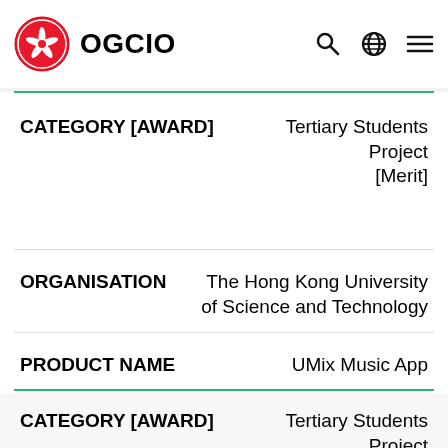OGCIO — Intelligence and Automated Baggage Loading Prediction for Automated Baggage Reconciliation
CATEGORY [AWARD]   Tertiary Students Project [Merit]
ORGANISATION   The Hong Kong University of Science and Technology
PRODUCT NAME   UMix Music App
CATEGORY [AWARD]   Tertiary Students Project